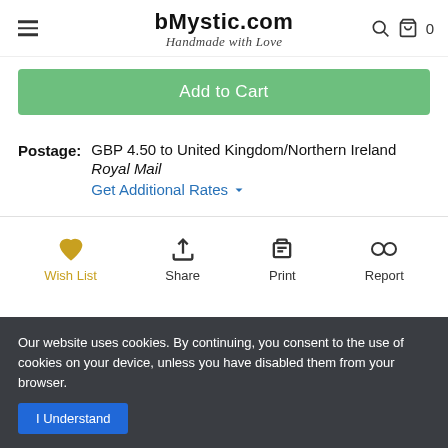bMystic.com — Handmade with Love
Add to Cart
Postage: GBP 4.50 to United Kingdom/Northern Ireland Royal Mail Get Additional Rates
Wish List  Share  Print  Report
Our website uses cookies. By continuing, you consent to the use of cookies on your device, unless you have disabled them from your browser. I Understand